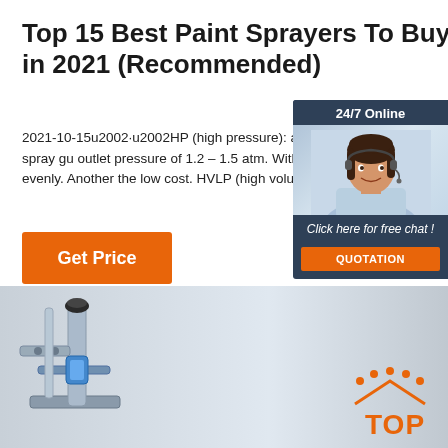Top 15 Best Paint Sprayers To Buy in 2021 (Recommended)
2021-10-15u2002·u2002HP (high pressure): affordable option among pneumatic spray gu outlet pressure of 1.2 – 1.5 atm. With such a turns out to paint quickly and evenly. Another the low cost. HVLP (high volume, low pressu
Get Price
[Figure (infographic): Chat widget sidebar with '24/7 Online' label, woman with headset photo, 'Click here for free chat!' text, and orange QUOTATION button]
[Figure (photo): Bottom image showing a metallic paint sprayer device with blue accents, and an orange TOP logo in the bottom right corner]